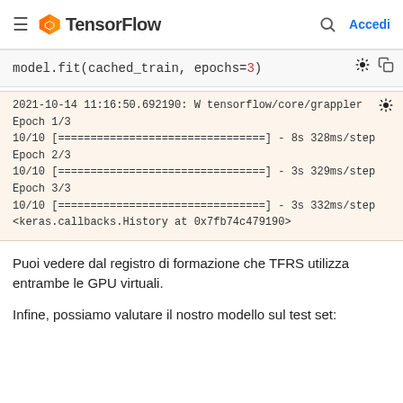TensorFlow — Accedi
model.fit(cached_train, epochs=3)
2021-10-14 11:16:50.692190: W tensorflow/core/grappler
Epoch 1/3
10/10 [================================] - 8s 328ms/step
Epoch 2/3
10/10 [================================] - 3s 329ms/step
Epoch 3/3
10/10 [================================] - 3s 332ms/step
<keras.callbacks.History at 0x7fb74c479190>
Puoi vedere dal registro di formazione che TFRS utilizza entrambe le GPU virtuali.
Infine, possiamo valutare il nostro modello sul test set: